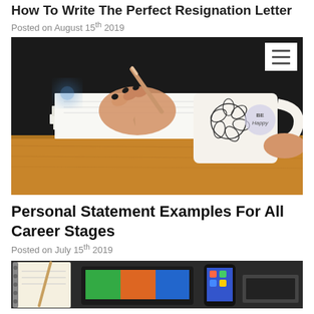How To Write The Perfect Resignation Letter
Posted on August 15th 2019
[Figure (photo): Person writing on a notebook with a pen (black nails), a decorative coffee mug with floral design and 'Be Happy' text visible, on a wooden table. A hamburger menu icon overlays the top-right corner.]
Personal Statement Examples For All Career Stages
Posted on July 15th 2019
[Figure (photo): Partial view of a desk with a planner/notebook, tablet or smartphone, and other items on a dark surface.]